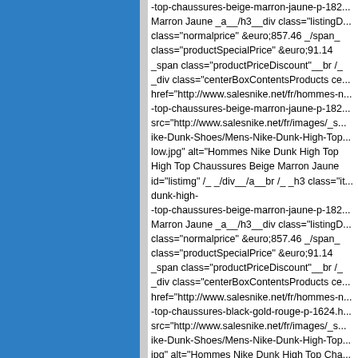[Figure (other): Blue rectangular panel on the left side of the page]
-top-chaussures-beige-marron-jaune-p-182... Marron Jaune _a__/h3__div class="listingD... class="normalprice" &euro;857.46 _/span_ class="productSpecialPrice" &euro;91.14 _span class="productPriceDiscount"__br /_ _div class="centerBoxContentsProducts ce... href="http://www.salesnike.net/fr/hommes-n... -top-chaussures-beige-marron-jaune-p-182... src="http://www.salesnike.net/fr/images/_s... ike-Dunk-Shoes/Mens-Nike-Dunk-High-Top... low.jpg" alt="Hommes Nike Dunk High Top... High Top Chaussures Beige Marron Jaune... id="listimg" /_ _/div__/a__br /_ _h3 class="it... dunk-high--top-chaussures-beige-marron-jaune-p-182... Marron Jaune _a__/h3__div class="listingD... class="normalprice" &euro;857.46 _/span_ class="productSpecialPrice" &euro;91.14 _span class="productPriceDiscount"__br /_ _div class="centerBoxContentsProducts ce... href="http://www.salesnike.net/fr/hommes-n... -top-chaussures-black-gold-rouge-p-1624.h... src="http://www.salesnike.net/fr/images/_s... ike-Dunk-Shoes/Mens-Nike-Dunk-High-Top... jpg" alt="Hommes Nike Dunk High Top Cha... Top Chaussures Black Gold Rouge " width=... /_ _/div__/a__br /_ _h3 class="itemTitle"_ _a... -top-chaussures-black-gold-rouge-p-1624.h... Rouge _/a__/h3__div class="listingDescript... _/span_ &nbsp;_span class="productSpecia... _span class="productPriceDiscount"__br /_ br class="clearBoth" /